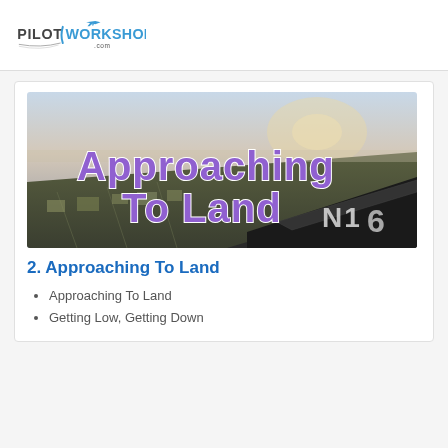PILOT WORKSHOPS .com
[Figure (photo): Aerial cockpit view photograph of an airplane approaching to land, showing the wing, city below, and a hazy sky at dusk/dawn. Large bold purple text overlay reads 'Approaching To Land'. Tail number visible on wing: N119716.]
2. Approaching To Land
Approaching To Land
Getting Low, Getting Down